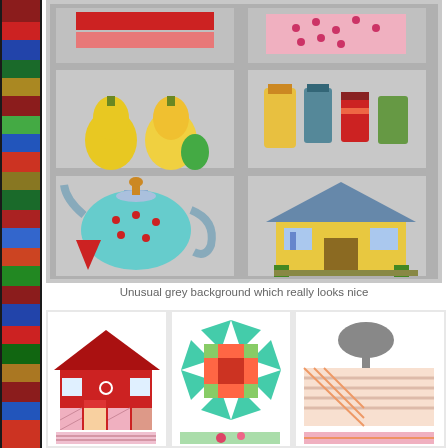[Figure (photo): Quilt blocks with grey background showing pear, jar, teapot, and house blocks arranged in a grid pattern with light grey sashing]
Unusual grey background which really looks nice
[Figure (photo): Collection of quilt blocks including a red barn, star block, kitchen utensils, and other patchwork blocks laid out on a white surface]